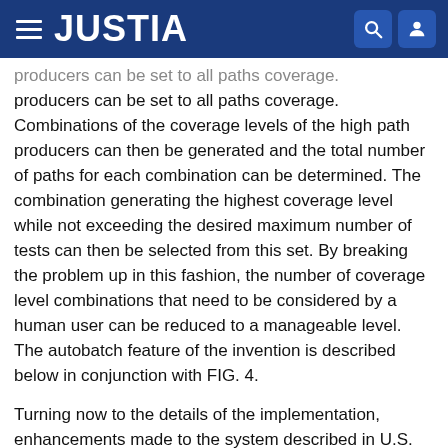JUSTIA
producers can be set to all paths coverage. Combinations of the coverage levels of the high path producers can then be generated and the total number of paths for each combination can be determined. The combination generating the highest coverage level while not exceeding the desired maximum number of tests can then be selected from this set. By breaking the problem up in this fashion, the number of coverage level combinations that need to be considered by a human user can be reduced to a manageable level. The autobatch feature of the invention is described below in conjunction with FIG. 4.
Turning now to the details of the implementation, enhancements made to the system described in U.S. Pat. No. 5,394,347 are described. FIG. 2 shows a modification to the model stack frame 210 as discussed